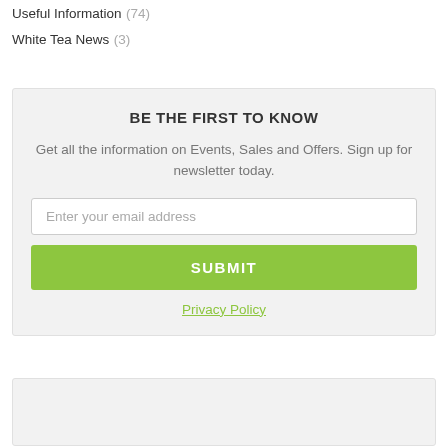Useful Information (74)
White Tea News (3)
BE THE FIRST TO KNOW
Get all the information on Events, Sales and Offers. Sign up for newsletter today.
Enter your email address
SUBMIT
Privacy Policy